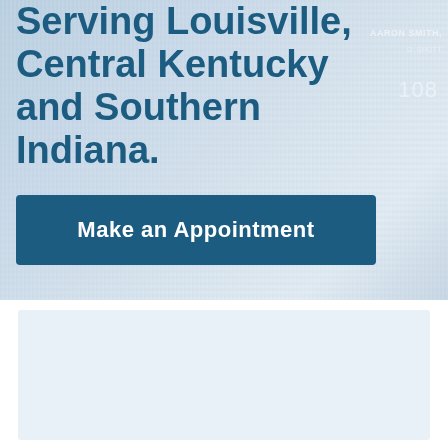[Figure (photo): Background photo of carpet/flooring in light blue-gray tones with overlaid text showing 'AARON SMITH', 'D. SHOTT', and '108' in faded white lettering on the right side]
Serving Louisville, Central Kentucky and Southern Indiana.
Make an Appointment